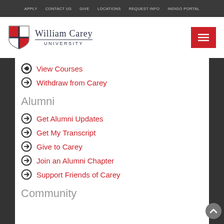APPLY  CONTACT US  GIVE  LOCATIONS  REQUEST INFO  INDIGO PORTAL
[Figure (logo): William Carey University shield logo with red and white quadrants, beside the text 'William Carey University']
View Courses
Withdraw from Carey
Alumni
Get Alumni Updates
Get My Transcript
Give to Carey
Join an Alumni Chapter
Support Friends of Carey
Community